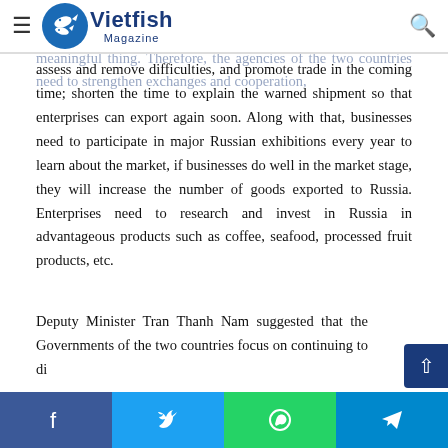Vietfish Magazine
if the two sides prioritize each other's advantages, products opening market to promote for each other will be a very meaningful thing. Therefore, the agencies of the two countries need to strengthen exchanges and cooperation, assess and remove difficulties, and promote trade in the coming time; shorten the time to explain the warned shipment so that enterprises can export again soon. Along with that, businesses need to participate in major Russian exhibitions every year to learn about the market, if businesses do well in the market stage, they will increase the number of goods exported to Russia. Enterprises need to research and invest in Russia in advantageous products such as coffee, seafood, processed fruit products, etc.
Deputy Minister Tran Thanh Nam suggested that the Governments of the two countries focus on continuing to di...
Facebook | Twitter | WhatsApp | Telegram